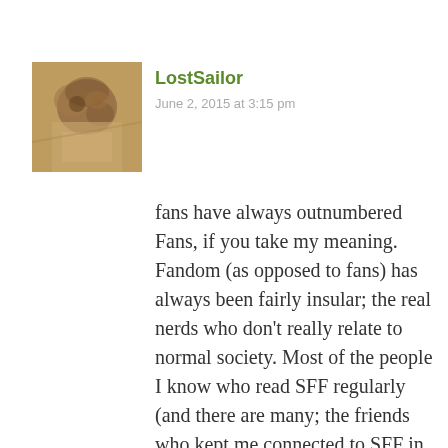[Figure (photo): Avatar image of user LostSailor — a blurry brownish/rust-colored close-up photo]
LostSailor
June 2, 2015 at 3:15 pm
fans have always outnumbered Fans, if you take my meaning. Fandom (as opposed to fans) has always been fairly insular; the real nerds who don't really relate to normal society. Most of the people I know who read SFF regularly (and there are many; the friends who kept me connected to SFF in the dark days by suggesting new, actually interesting reading)